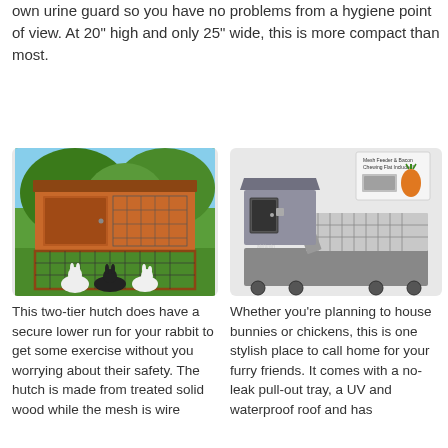own urine guard so you have no problems from a hygiene point of view. At 20" high and only 25" wide, this is more compact than most.
[Figure (photo): A two-tier wooden rabbit hutch in brown/orange color with a lower wire mesh run area, photographed outdoors on grass with two rabbits visible in front.]
[Figure (photo): A gray two-tier rabbit/chicken hutch with a slanted roof, wire mesh panels, pull-out tray, on wheels, with an inset diagram showing the mesh feeder and bacon chewing feature.]
This two-tier hutch does have a secure lower run for your rabbit to get some exercise without you worrying about their safety. The hutch is made from treated solid wood while the mesh is wire
Whether you're planning to house bunnies or chickens, this is one stylish place to call home for your furry friends. It comes with a no-leak pull-out tray, a UV and waterproof roof and has